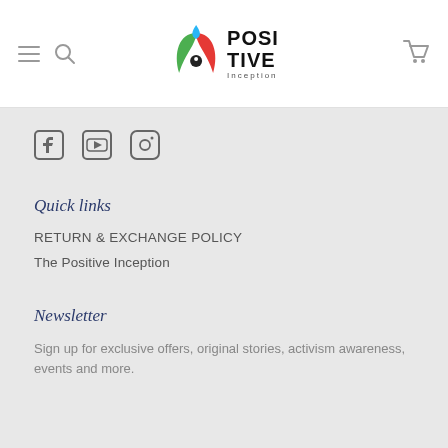Positive Inception — navigation header with hamburger menu, search, logo, and cart
[Figure (logo): Positive Inception logo: colorful leaf/flame icon with POSITIVE INCEPTION text]
[Figure (illustration): Social media icons: Facebook, YouTube, Instagram]
Quick links
RETURN & EXCHANGE POLICY
The Positive Inception
Newsletter
Sign up for exclusive offers, original stories, activism awareness, events and more.